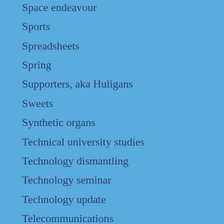Space endeavour
Sports
Spreadsheets
Spring
Supporters, aka Huligans
Sweets
Synthetic organs
Technical university studies
Technology dismantling
Technology seminar
Technology update
Telecommunications
Tennis
Terrorist attack
Text coding